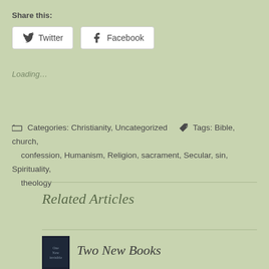Share this:
Twitter  Facebook
Loading...
Categories: Christianity, Uncategorized   Tags: Bible, church, confession, Humanism, Religion, sacrament, Secular, sin, Spirituality, theology
Related Articles
[Figure (photo): Small book cover thumbnail]
Two New Books